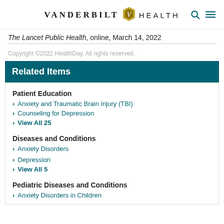VANDERBILT HEALTH
The Lancet Public Health, online, March 14, 2022
Copyright ©2022 HealthDay. All rights reserved.
Related Items
Patient Education
Anxiety and Traumatic Brain Injury (TBI)
Counseling for Depression
View All 25
Diseases and Conditions
Anxiety Disorders
Depression
View All 5
Pediatric Diseases and Conditions
Anxiety Disorders in Children